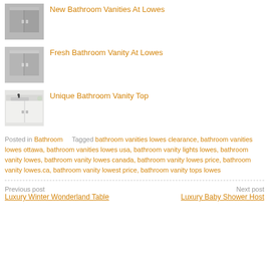[Figure (photo): Gray bathroom vanity cabinet thumbnail - top item]
New Bathroom Vanities At Lowes
[Figure (photo): Gray bathroom vanity cabinet thumbnail - second item]
Fresh Bathroom Vanity At Lowes
[Figure (photo): White bathroom vanity with sink top thumbnail]
Unique Bathroom Vanity Top
Posted in Bathroom    Tagged bathroom vanities lowes clearance, bathroom vanities lowes ottawa, bathroom vanities lowes usa, bathroom vanity lights lowes, bathroom vanity lowes, bathroom vanity lowes canada, bathroom vanity lowes price, bathroom vanity lowes.ca, bathroom vanity lowest price, bathroom vanity tops lowes
Previous post
Luxury Winter Wonderland Table
Next post
Luxury Baby Shower Host